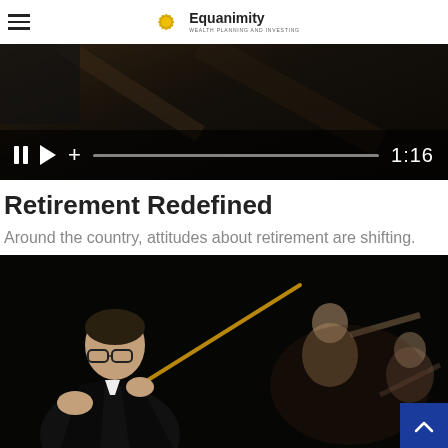Equanimity — Wealth Planning and Investing
[Figure (screenshot): Video player showing a dark scene with playback controls: pause button, play button, plus icon, progress bar, and timestamp 1:16]
Retirement Redefined
Around the country, attitudes about retirement are shifting.
[Figure (photo): Orchestra conductor in black suit holding a baton, leaning forward expressively, with musicians playing instruments visible in the background against a dark backdrop]